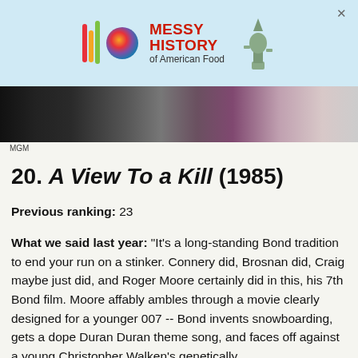[Figure (photo): Advertisement banner for 'Messy History of American Food' with colorful logo and Statue of Liberty graphic on light blue background]
[Figure (photo): Dark movie still photo showing figures in formal attire, appears to be a scene from a James Bond film]
MGM
20. A View To a Kill (1985)
Previous ranking: 23
What we said last year: "It's a long-standing Bond tradition to end your run on a stinker. Connery did, Brosnan did, Craig maybe just did, and Roger Moore certainly did in this, his 7th Bond film. Moore affably ambles through a movie clearly designed for a younger 007 -- Bond invents snowboarding, gets a dope Duran Duran theme song, and faces off against a young Christopher Walken's genetically